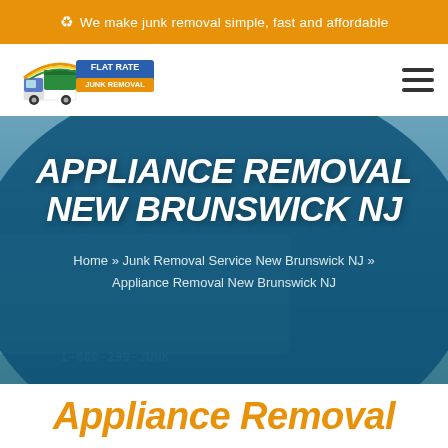We make junk removal simple, fast and affordable
[Figure (logo): Flat Rate Junk Removal logo — truck with dumpster and rainbow banner]
APPLIANCE REMOVAL NEW BRUNSWICK NJ
Home » Junk Removal Service New Brunswick NJ » Appliance Removal New Brunswick NJ
Appliance Removal